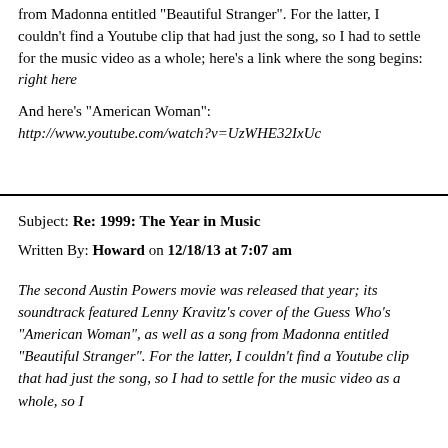from Madonna entitled "Beautiful Stranger". For the latter, I couldn't find a Youtube clip that had just the song, so I had to settle for the music video as a whole; here's a link where the song begins: right here
And here's "American Woman": http://www.youtube.com/watch?v=UzWHE32IxUc
Subject: Re: 1999: The Year in Music
Written By: Howard on 12/18/13 at 7:07 am
The second Austin Powers movie was released that year; its soundtrack featured Lenny Kravitz's cover of the Guess Who's "American Woman", as well as a song from Madonna entitled "Beautiful Stranger". For the latter, I couldn't find a Youtube clip that had just the song, so I had to settle for the music video as a whole, so I